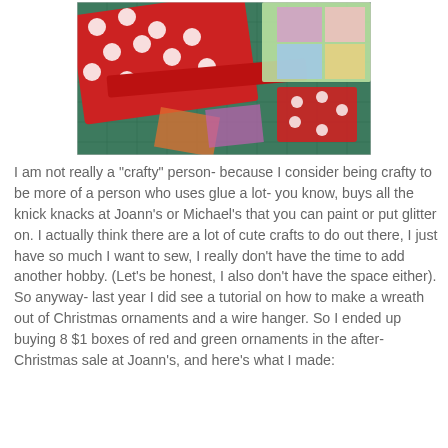[Figure (photo): Photo of colorful Christmas fabric pieces including red and white polka dot fabric, red ribbon, and patchwork fabric pieces on a green cutting mat.]
I am not really a "crafty" person- because I consider being crafty to be more of a person who uses glue a lot- you know, buys all the knick knacks at Joann's or Michael's that you can paint or put glitter on. I actually think there are a lot of cute crafts to do out there, I just have so much I want to sew, I really don't have the time to add another hobby. (Let's be honest, I also don't have the space either). So anyway- last year I did see a tutorial on how to make a wreath out of Christmas ornaments and a wire hanger. So I ended up buying 8 $1 boxes of red and green ornaments in the after-Christmas sale at Joann's, and here's what I made:
[Figure (photo): Photo of a Christmas ornament wreath in progress, showing red and green ball ornaments hanging from a black wire hanger against a beige wall.]